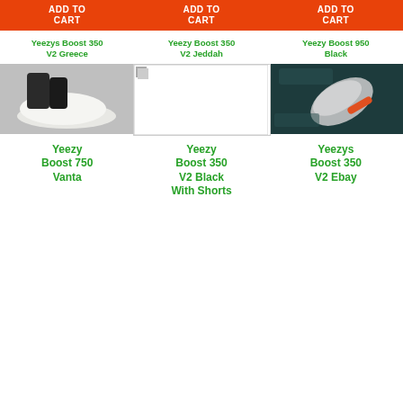[Figure (screenshot): E-commerce product grid showing sneaker products with Add to Cart buttons and product images]
ADD TO CART
ADD TO CART
ADD TO CART
Yeezys Boost 350 V2 Greece
Yeezy Boost 350 V2 Jeddah
Yeezy Boost 950 Black
Yeezy Boost 750 Vanta
Yeezy Boost 350 V2 Black With Shorts
Yeezys Boost 350 V2 Ebay